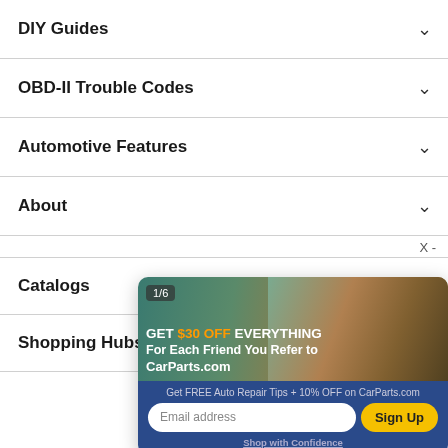DIY Guides
OBD-II Trouble Codes
Automotive Features
About
Catalogs
Shopping Hubs
[Figure (screenshot): Popup advertisement overlay showing '1/6' badge, image of two people in a car, text 'GET $30 OFF EVERYTHING For Each Friend You Refer to CarParts.com', email signup form with 'Get FREE Auto Repair Tips + 10% OFF on CarParts.com', email address input field, Sign Up button, and 'Shop with Confidence' footer text on a blue background.]